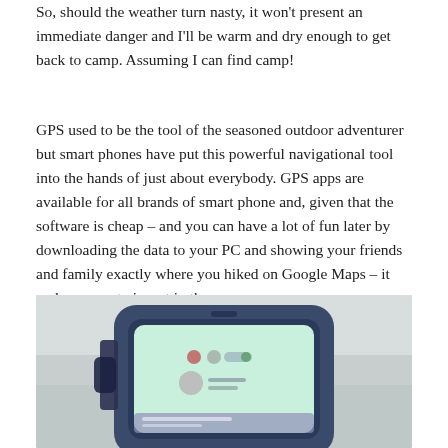So, should the weather turn nasty, it won't present an immediate danger and I'll be warm and dry enough to get back to camp. Assuming I can find camp!
GPS used to be the tool of the seasoned outdoor adventurer but smart phones have put this powerful navigational tool into the hands of just about everybody. GPS apps are available for all brands of smart phone and, given that the software is cheap – and you can have a lot of fun later by downloading the data to your PC and showing your friends and family exactly where you hiked on Google Maps – it makes sense to invest in the app.
[Figure (photo): A smartphone in a protective case mounted on a device, showing a light green screen with GPS-related UI elements, photographed against a light grey/foggy outdoor background.]